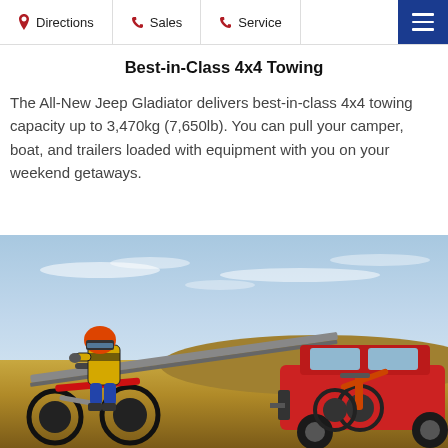Directions | Sales | Service
Best-in-Class 4x4 Towing
The All-New Jeep Gladiator delivers best-in-class 4x4 towing capacity up to 3,470kg (7,650lb). You can pull your camper, boat, and trailers loaded with equipment with you on your weekend getaways.
[Figure (photo): A person in a yellow motocross jacket loading a dirt bike onto a trailer being towed by a red Jeep Gladiator pickup truck. A second dirt bike is visible on the trailer. The scene is set in an open outdoor landscape with a blue sky.]